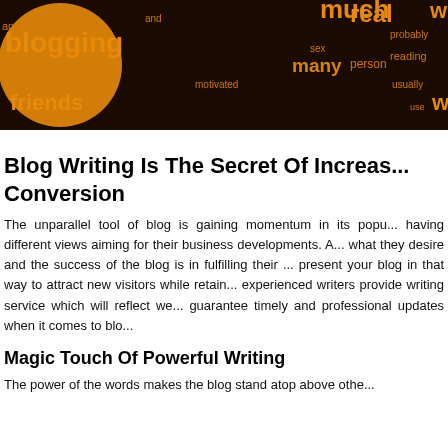[Figure (illustration): Dark brown background word cloud with orange and yellow words related to blogging: blogging, friends, much, real, many, person, reading, motivated, probably, usually, and others. Large orange circular shape on the left.]
Blog Writing Is The Secret Of Increasing Conversion
The unparallel tool of blog is gaining momentum in its popularity having different views aiming for their business developments. All what they desire and the success of the blog is in fulfilling their present your blog in that way to attract new visitors while retaining experienced writers provide writing service which will reflect we guarantee timely and professional updates when it comes to blogging.
Magic Touch Of Powerful Writing
The power of the words makes the blog stand atop above other